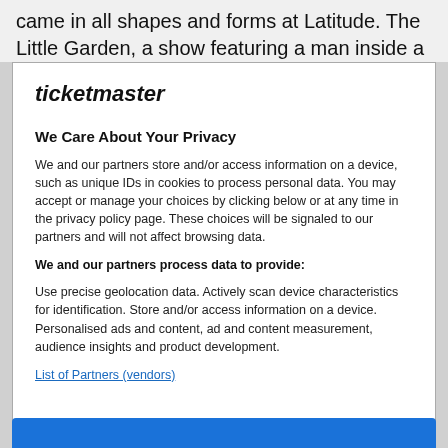came in all shapes and forms at Latitude. The Little Garden, a show featuring a man inside a tiny
[Figure (screenshot): Ticketmaster privacy consent modal dialog box with logo, privacy notice text, and a blue Accept button at the bottom]
ticketmaster
We Care About Your Privacy
We and our partners store and/or access information on a device, such as unique IDs in cookies to process personal data. You may accept or manage your choices by clicking below or at any time in the privacy policy page. These choices will be signaled to our partners and will not affect browsing data.
We and our partners process data to provide:
Use precise geolocation data. Actively scan device characteristics for identification. Store and/or access information on a device. Personalised ads and content, ad and content measurement, audience insights and product development.
List of Partners (vendors)